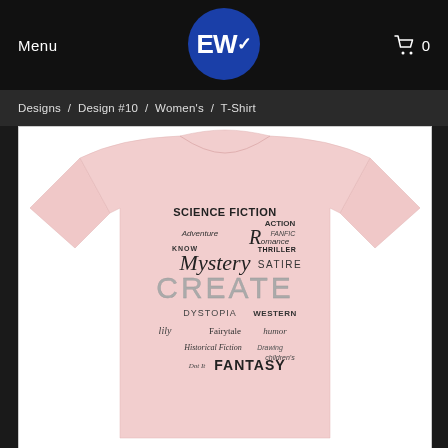Menu  EW  0
Designs / Design #10 / Women's / T-Shirt
[Figure (photo): Pink women's t-shirt with typography word cloud design featuring writing genres: SCIENCE FICTION, ACTION, FANFIC, ADVENTURE, ROMANCE, MYSTERY, SATIRE, CREATE, DYSTOPIA, WESTERN, Fairytale, HUMOR, Historical Fiction, Children's, Dot It, FANTASY, THRILLER]